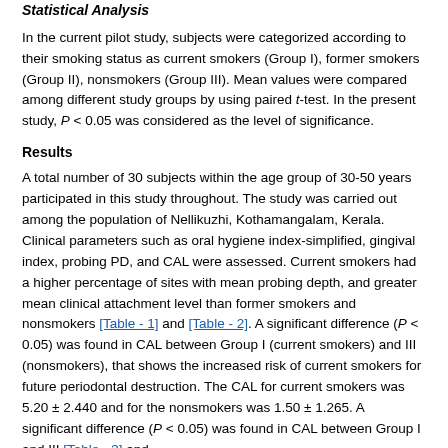Statistical Analysis
In the current pilot study, subjects were categorized according to their smoking status as current smokers (Group I), former smokers (Group II), nonsmokers (Group III). Mean values were compared among different study groups by using paired t-test. In the present study, P < 0.05 was considered as the level of significance.
Results
A total number of 30 subjects within the age group of 30-50 years participated in this study throughout. The study was carried out among the population of Nellikuzhi, Kothamangalam, Kerala. Clinical parameters such as oral hygiene index-simplified, gingival index, probing PD, and CAL were assessed. Current smokers had a higher percentage of sites with mean probing depth, and greater mean clinical attachment level than former smokers and nonsmokers [Table - 1] and [Table - 2]. A significant difference (P < 0.05) was found in CAL between Group I (current smokers) and III (nonsmokers), that shows the increased risk of current smokers for future periodontal destruction. The CAL for current smokers was 5.20 ± 2.440 and for the nonsmokers was 1.50 ± 1.265. A significant difference (P < 0.05) was found in CAL between Group I and III [Table - 3] and